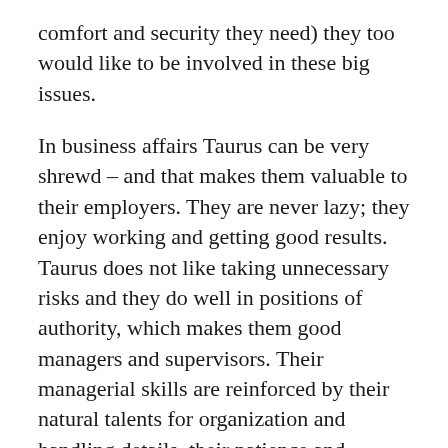comfort and security they need) they too would like to be involved in these big issues.
In business affairs Taurus can be very shrewd – and that makes them valuable to their employers. They are never lazy; they enjoy working and getting good results. Taurus does not like taking unnecessary risks and they do well in positions of authority, which makes them good managers and supervisors. Their managerial skills are reinforced by their natural talents for organization and handling details, their patience and thoroughness. As mentioned, through their connection with the earth, Taurus people also do well in farming and agriculture.
In general a Taurus Traits will choose money and earning power over public esteem and